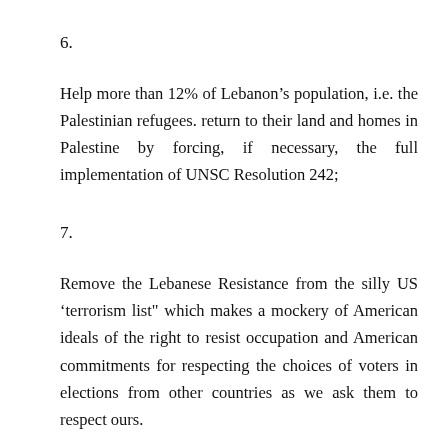6.
Help more than 12% of Lebanon’s population, i.e. the Palestinian refugees. return to their land and homes in Palestine by forcing, if necessary, the full implementation of UNSC Resolution 242;
7.
Remove the Lebanese Resistance from the silly US ‘terrorism list" which makes a mockery of American ideals of the right to resist occupation and American commitments for respecting the choices of voters in elections from other countries as we ask them to respect ours.
These acts by the next US administration will go a long way in restoring the loss of respect our country has